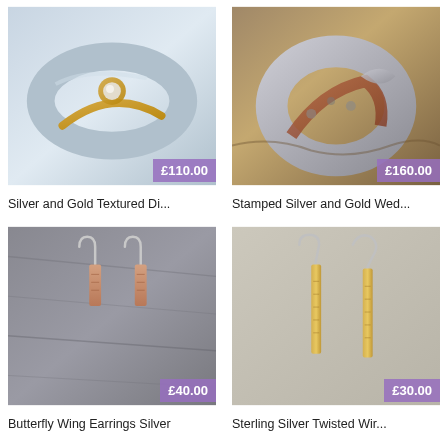[Figure (photo): Silver and gold textured diamond ring with white stone set in gold on a wide silver band]
£110.00
Silver and Gold Textured Di...
[Figure (photo): Stamped silver and gold wedding band with decorative mixed metal design]
£160.00
Stamped Silver and Gold Wed...
[Figure (photo): Butterfly wing earrings in silver, small rectangular textured drops on silver hooks]
£40.00
Butterfly Wing Earrings Silver
[Figure (photo): Sterling silver twisted wire earrings, long gold bar drops on silver hooks]
£30.00
Sterling Silver Twisted Wir...